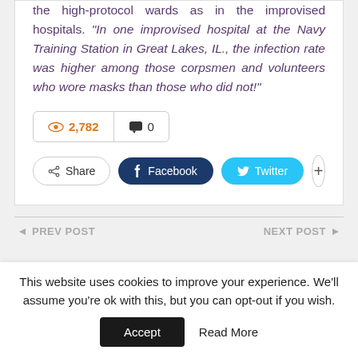the high-protocol wards as in the improvised hospitals. “In one improvised hospital at the Navy Training Station in Great Lakes, IL., the infection rate was higher among those corpsmen and volunteers who wore masks than those who did not!”
2,782 views | 0 comments
Share | Facebook | Twitter | +
PREV POST | NEXT POST
This website uses cookies to improve your experience. We'll assume you're ok with this, but you can opt-out if you wish. Accept | Read More